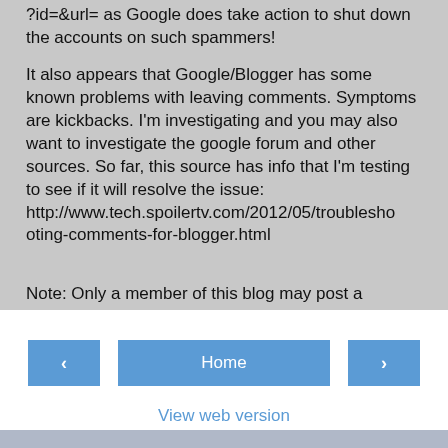?id=&url= as Google does take action to shut down the accounts on such spammers!
It also appears that Google/Blogger has some known problems with leaving comments. Symptoms are kickbacks. I'm investigating and you may also want to investigate the google forum and other sources. So far, this source has info that I'm testing to see if it will resolve the issue: http://www.tech.spoilertv.com/2012/05/troubleshooting-comments-for-blogger.html
Note: Only a member of this blog may post a comment.
< Home > View web version